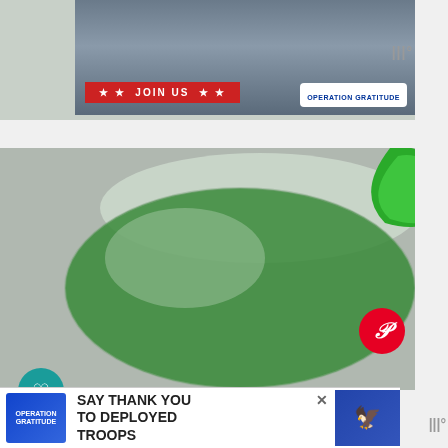[Figure (photo): Operation Gratitude banner ad showing two people in military/civilian attire exchanging a white box. Red banner reads '★★ JOIN US ★★' and Operation Gratitude logo visible.]
[Figure (photo): Close-up photo of a green cocktail drink in a large round glass with a bright green lime/citrus garnish on the rim. Social sharing overlay with heart icon, count 146, and share button on left. Pinterest button top right.]
146
WHAT'S NEXT →
20 Valentine Sweet Treat...
[Figure (photo): Operation Gratitude bottom advertisement: 'SAY THANK YOU TO DEPLOYED TROOPS' with logo on left and owl mascot graphic on right.]